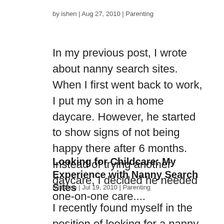by ishen | Aug 27, 2010 | Parenting
In my previous post, I wrote about nanny search sites. When I first went back to work, I put my son in a home daycare. However, he started to show signs of not being happy there after 6 months. Instead of trying another daycare, I decided he needed one-on-one care....
Looking for Childcare: My Experience with Nanny Search Sites
by ishen | Jul 19, 2010 | Parenting
I recently found myself in the position of looking for a nanny  for my son. While I